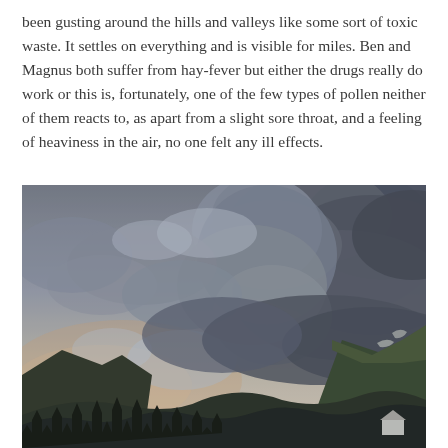been gusting around the hills and valleys like some sort of toxic waste. It settles on everything and is visible for miles. Ben and Magnus both suffer from hay-fever but either the drugs really do work or this is, fortunately, one of the few types of pollen neither of them reacts to, as apart from a slight sore throat, and a feeling of heaviness in the air, no one felt any ill effects.
[Figure (photo): Dramatic landscape photograph showing a mountain valley scene with dark storm clouds dominating the sky. The sky has swirling grey and white clouds with patches of lighter, pinkish-blue sky near the horizon. In the foreground, silhouetted conifer trees line the bottom. Hills and mountains rise on both sides. A small white building or structure is partially visible in the lower right corner.]